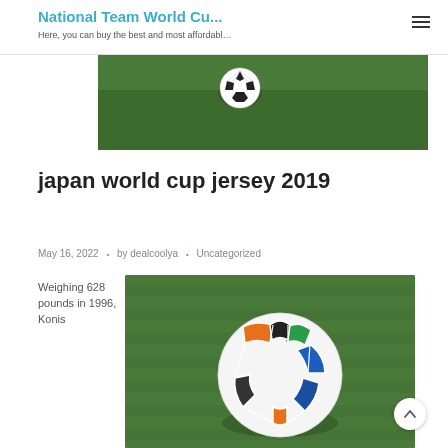National Team World Cu... | Here, you can buy the best and most affordabl...
[Figure (photo): Close-up photo of a soccer ball on green grass, partial view from above]
japan world cup jersey 2019
May 16, 2022 • by dealcoolya • Uncategorized
Weighing 628 pounds in 1996, Konis
[Figure (photo): Soccer ball (Brazuca style, colorful design) resting on green grass field]